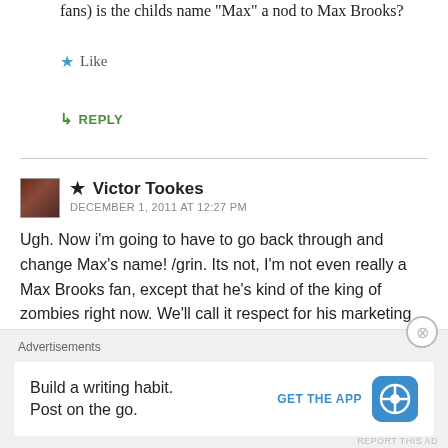fans) is the childs name "Max" a nod to Max Brooks?
★ Like
↳ REPLY
★ Victor Tookes
DECEMBER 1, 2011 AT 12:27 PM
Ugh. Now i'm going to have to go back through and change Max's name! /grin. Its not, I'm not even really a Max Brooks fan, except that he's kind of the king of zombies right now. We'll call it respect for his marketing efforts.
Great to know you found the book and liked it! Thank
Advertisements
Build a writing habit. Post on the go.
GET THE APP